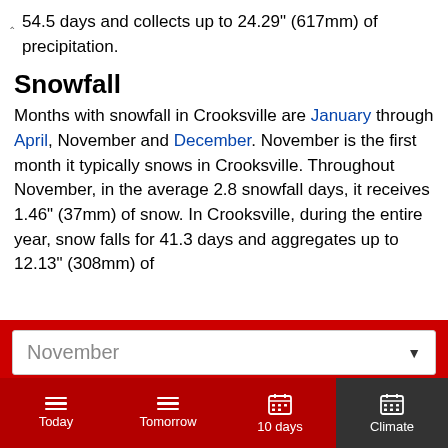54.5 days and collects up to 24.29" (617mm) of precipitation.
Snowfall
Months with snowfall in Crooksville are January through April, November and December. November is the first month it typically snows in Crooksville. Throughout November, in the average 2.8 snowfall days, it receives 1.46" (37mm) of snow. In Crooksville, during the entire year, snow falls for 41.3 days and aggregates up to 12.13" (308mm) of
November
Today | Tomorrow | 10 days | Climate